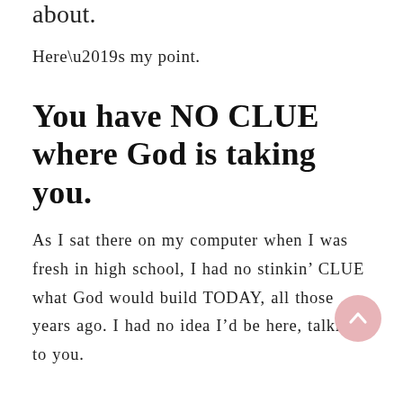about.
Here’s my point.
You have NO CLUE where God is taking you.
As I sat there on my computer when I was fresh in high school, I had no stinkin’ CLUE what God would build TODAY, all those years ago. I had no idea I’d be here, talking to you.
[Figure (other): Scroll-to-top button: a circular pinkish button with an upward-pointing chevron arrow]